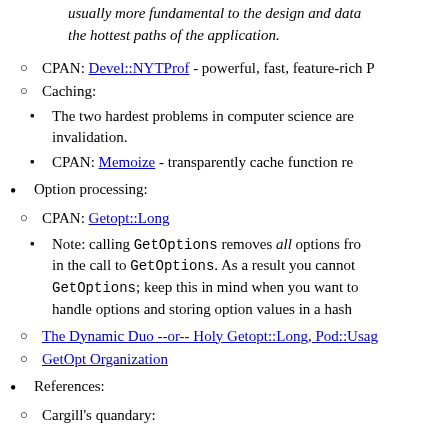usually more fundamental to the design and data... the hottest paths of the application.
CPAN: Devel::NYTProf - powerful, fast, feature-rich P...
Caching:
The two hardest problems in computer science are... invalidation.
CPAN: Memoize - transparently cache function re...
Option processing:
CPAN: Getopt::Long
Note: calling GetOptions removes all options fro... in the call to GetOptions. As a result you cannot... GetOptions; keep this in mind when you want to... handle options and storing option values in a hash
The Dynamic Duo --or-- Holy Getopt::Long, Pod::Usage...
GetOpt Organization
References:
Cargill's quandary: